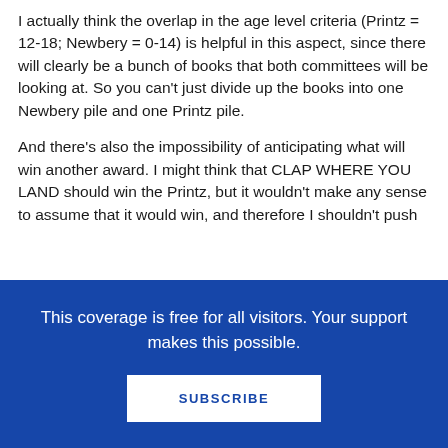I actually think the overlap in the age level criteria (Printz = 12-18; Newbery = 0-14) is helpful in this aspect, since there will clearly be a bunch of books that both committees will be looking at. So you can't just divide up the books into one Newbery pile and one Printz pile.
And there's also the impossibility of anticipating what will win another award. I might think that CLAP WHERE YOU LAND should win the Printz, but it wouldn't make any sense to assume that it would win, and therefore I shouldn't push
This coverage is free for all visitors. Your support makes this possible.
SUBSCRIBE